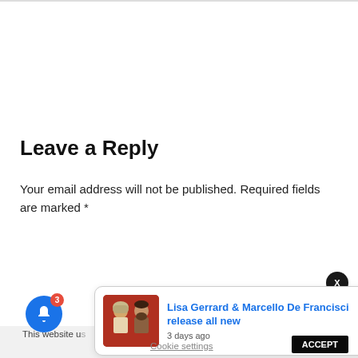Leave a Reply
Your email address will not be published. Required fields are marked *
This website u... sume you're...
[Figure (screenshot): Notification popup with photo of Lisa Gerrard and Marcello De Francisci, showing article title and timestamp '3 days ago']
Lisa Gerrard & Marcello De Francisci release all new
3 days ago
Cookie settings
ACCEPT